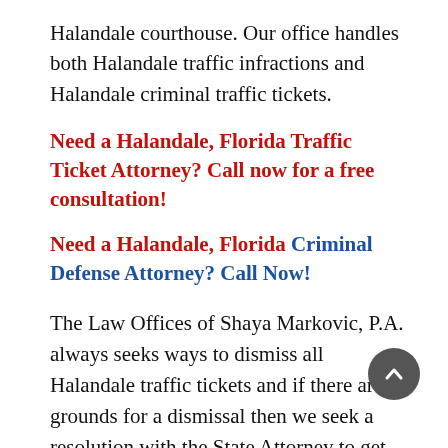Halandale courthouse. Our office handles both Halandale traffic infractions and Halandale criminal traffic tickets.
Need a Halandale, Florida Traffic Ticket Attorney? Call now for a free consultation!
Need a Halandale, Florida Criminal Defense Attorney? Call Now!
The Law Offices of Shaya Markovic, P.A. always seeks ways to dismiss all Halandale traffic tickets and if there are no grounds for a dismissal then we seek a resolution with the State Attorney to get the best possible outcome for every traffic ticket we handle. Just because you received a Halandale traffic infraction doesn't mean you are guilty! You have rights and you may have a fighting chance of defeating